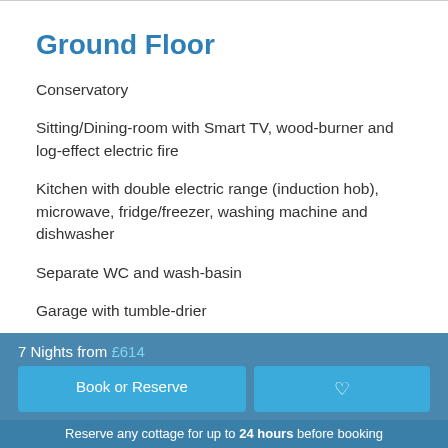Ground Floor
Conservatory
Sitting/Dining-room with Smart TV, wood-burner and log-effect electric fire
Kitchen with double electric range (induction hob), microwave, fridge/freezer, washing machine and dishwasher
Separate WC and wash-basin
Garage with tumble-drier
7 Nights from £614 | Book or Reserve | Reserve any cottage for up to 24 hours before booking